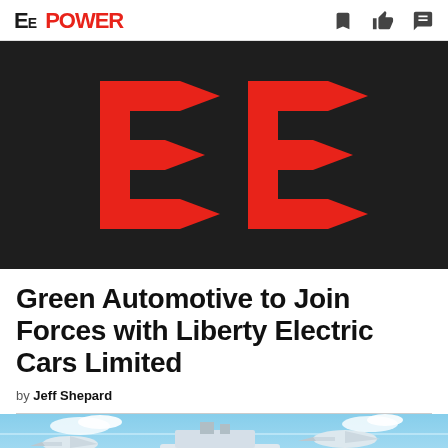EE POWER
[Figure (logo): EE Power logo on dark background with red double-E arrow icon]
Green Automotive to Join Forces with Liberty Electric Cars Limited
by Jeff Shepard
[Figure (photo): Image showing airplanes and a cruise ship against a blue sky background]